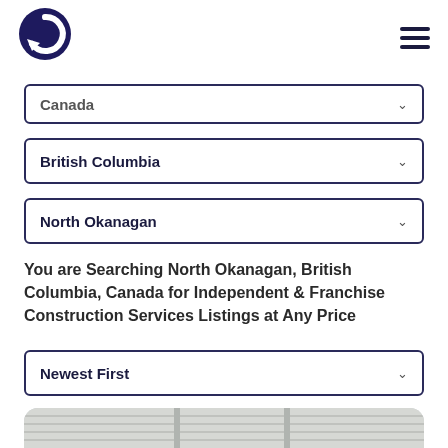[Figure (logo): Dark navy circular logo with arrow/recycling symbol]
Canada
British Columbia
North Okanagan
You are Searching North Okanagan, British Columbia, Canada for Independent & Franchise Construction Services Listings at Any Price
Newest First
[Figure (photo): Partial view of a building exterior with windows and covered patio/ceiling]